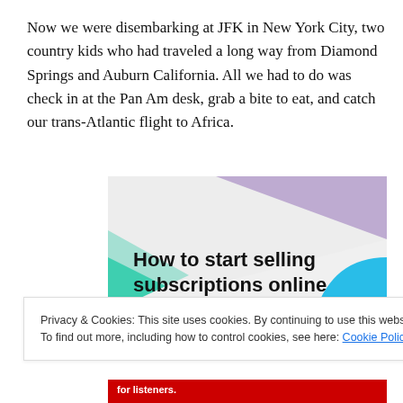Now we were disembarking at JFK in New York City, two country kids who had traveled a long way from Diamond Springs and Auburn California. All we had to do was check in at the Pan Am desk, grab a bite to eat, and catch our trans-Atlantic flight to Africa.
[Figure (illustration): Advertisement banner with colorful geometric shapes (purple triangle top, green triangle left, cyan curve right) on light grey background with bold text 'How to start selling subscriptions online']
Privacy & Cookies: This site uses cookies. By continuing to use this website, you agree to their use.
To find out more, including how to control cookies, see here: Cookie Policy
Close and accept
[Figure (illustration): Bottom of a red advertisement strip with partial text 'for listeners.']